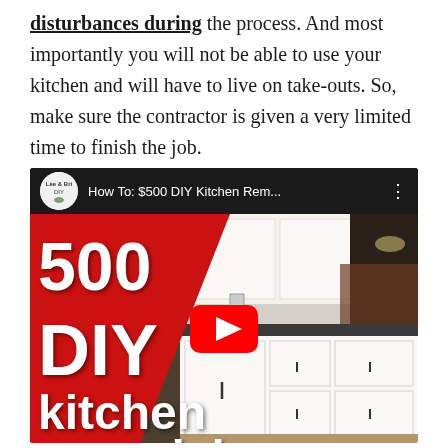disturbances during the process. And most importantly you will not be able to use your kitchen and will have to live on take-outs. So, make sure the contractor is given a very limited time to finish the job.
[Figure (screenshot): Embedded YouTube video thumbnail showing 'How To: $500 DIY Kitchen Rem...' with Lee & Bri DIY channel logo. Thumbnail shows white kitchen cabinets with dark countertops and a large YouTube play button in the center. Red diagonal overlay on left side with white text reading '500 DIY kitchen remodel'.]